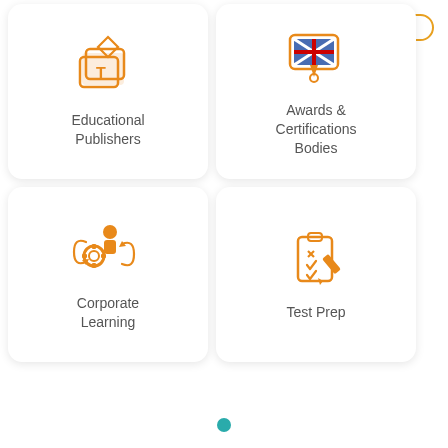[Figure (illustration): Orange icon of educational books/cards with a T symbol]
Educational Publishers
[Figure (illustration): Orange icon of a certification card with UK flag and ribbon]
Awards & Certifications Bodies
[Figure (illustration): Orange icon of a person with gear and arrows representing corporate learning]
Corporate Learning
[Figure (illustration): Orange icon of a clipboard with checkmarks and a pencil representing test prep]
Test Prep
[Figure (other): Demo button with orange border top-right]
[Figure (other): Teal dot navigation indicator at bottom center]